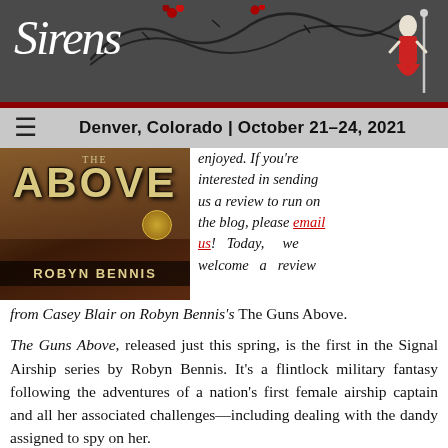Sirens — Denver, Colorado | October 21–24, 2021
[Figure (screenshot): Book cover for 'The Guns Above' by Robyn Bennis]
enjoyed. If you're interested in sending us a review to run on the blog, please email us! Today, we welcome a review from Casey Blair on Robyn Bennis's The Guns Above.
The Guns Above, released just this spring, is the first in the Signal Airship series by Robyn Bennis. It's a flintlock military fantasy following the adventures of a nation's first female airship captain and all her associated challenges—including dealing with the dandy assigned to spy on her.